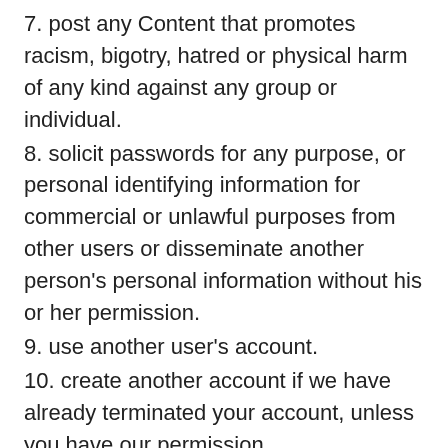7. post any Content that promotes racism, bigotry, hatred or physical harm of any kind against any group or individual.
8. solicit passwords for any purpose, or personal identifying information for commercial or unlawful purposes from other users or disseminate another person’s personal information without his or her permission.
9. use another user’s account.
10. create another account if we have already terminated your account, unless you have our permission.
LocalFriend reserves the right to investigate and/ or terminate your account if you have misused the